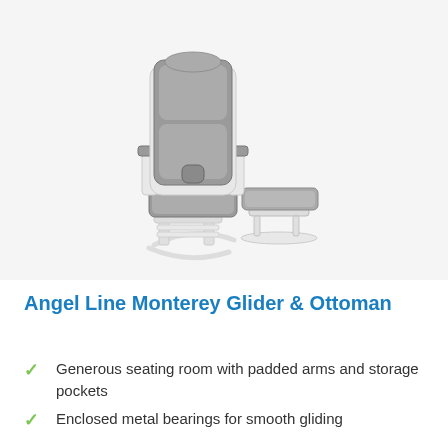[Figure (photo): Angel Line Monterey Glider and Ottoman — a white wooden glider rocking chair with gray padded seat, back, and arm cushions, accompanied by a matching gray-padded ottoman on a white glider base.]
Angel Line Monterey Glider & Ottoman
Generous seating room with padded arms and storage pockets
Enclosed metal bearings for smooth gliding